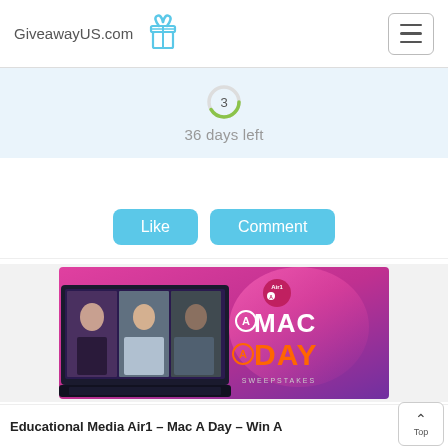GiveawayUS.com
36 days left
Like  Comment
[Figure (photo): A Mac A Day Sweepstakes promotional image featuring a MacBook laptop with three people on screen, Air1 radio station branding, and colorful pink/purple gradient background with 'A Mac A Day Sweepstakes' text]
Educational Media Air1 – Mac A Day – Win A ... ARV $000.00 Total ARV of all prizes to be ...